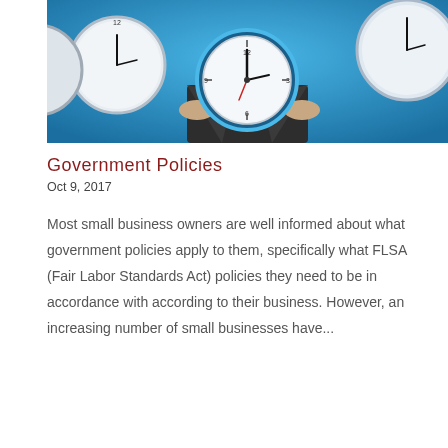[Figure (photo): A person in a suit holding a large analog clock, with additional clocks visible in the background, set against a blue background.]
Government Policies
Oct 9, 2017
Most small business owners are well informed about what government policies apply to them, specifically what FLSA (Fair Labor Standards Act) policies they need to be in accordance with according to their business. However, an increasing number of small businesses have...